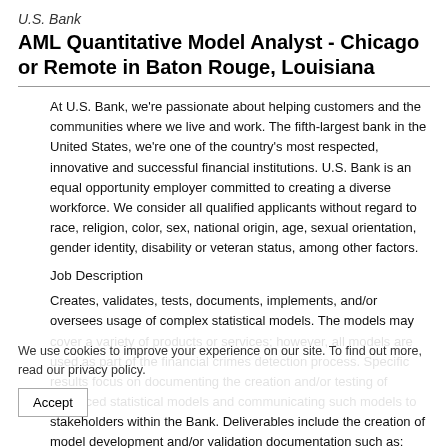U.S. Bank
AML Quantitative Model Analyst - Chicago or Remote in Baton Rouge, Louisiana
At U.S. Bank, we're passionate about helping customers and the communities where we live and work. The fifth-largest bank in the United States, we're one of the country's most respected, innovative and successful financial institutions. U.S. Bank is an equal opportunity employer committed to creating a diverse workforce. We consider all qualified applicants without regard to race, religion, color, sex, national origin, age, sexual orientation, gender identity, disability or veteran status, among other factors.
Job Description
Creates, validates, tests, documents, implements, and/or oversees usage of complex statistical models. The models may cover a variety of products or services; however, all models are used as part of the financial crimes detection process. Specific results focus on documenting the creation and/or testing of advanced statistical models and communicating such models to stakeholders within the Bank. Deliverables include the creation of model development and/or validation documentation such as: presentations, written reports, model or reporting code documentation, business
We use cookies to improve your experience on our site. To find out more, read our privacy policy.